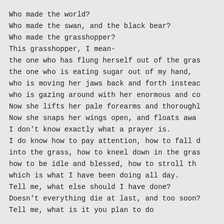Who made the world?
Who made the swan, and the black bear?
Who made the grasshopper?
This grasshopper, I mean-
the one who has flung herself out of the gras
the one who is eating sugar out of my hand,
who is moving her jaws back and forth instea
who is gazing around with her enormous and c
Now she lifts her pale forearms and thoroughl
Now she snaps her wings open, and floats awa
I don't know exactly what a prayer is.
I do know how to pay attention, how to fall d
into the grass, how to kneel down in the gras
how to be idle and blessed, how to stroll th
which is what I have been doing all day.
Tell me, what else should I have done?
Doesn't everything die at last, and too soon?
Tell me, what is it you plan to do